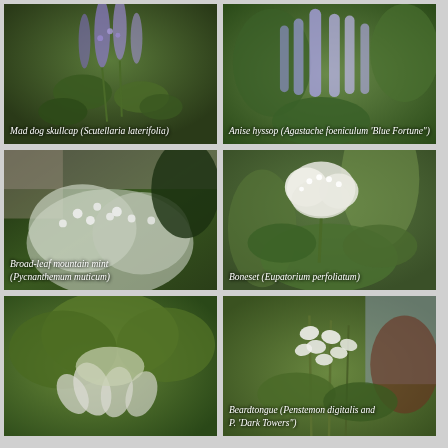[Figure (photo): Mad dog skullcap (Scutellaria laterifolia) - purple flowering plant with green foliage]
[Figure (photo): Anise hyssop (Agastache foeniculum 'Blue Fortune') - tall purple flower spikes]
[Figure (photo): Broad-leaf mountain mint (Pycnanthemum muticum) - white flowering shrubby plant]
[Figure (photo): Boneset (Eupatorium perfoliatum) - white clustered flowers with green leaves]
[Figure (photo): Unidentified plant with large leaves and drooping white flowers]
[Figure (photo): Beardtongue (Penstemon digitalis and P. 'Dark Towers') - white tubular flowers]